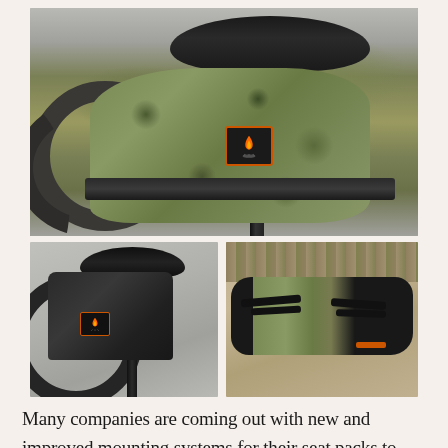[Figure (photo): Close-up photo of a camouflage pattern bikepacking seat bag mounted under a bicycle saddle. The bag has a black velcro strap and a black square logo patch with an orange campfire flame design. A knobby tire is visible in the background.]
[Figure (photo): Photo of a black bikepacking seat bag mounted on a mountain bike under a black saddle. The bag has the same campfire logo patch. A fat bike tire is partially visible at the lower left.]
[Figure (photo): Close-up photo of a rolled/packed camouflage and black bikepacking seat bag lying on a wooden surface with gravel in the background. The bag shows multiple black straps and buckles.]
Many companies are coming out with new and improved mounting systems for their seat packs to